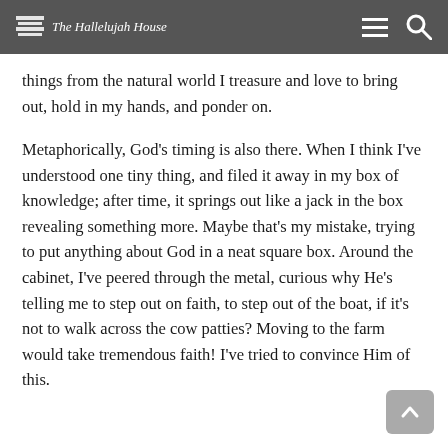The Hallelujah House
things from the natural world I treasure and love to bring out, hold in my hands, and ponder on.
Metaphorically, God’s timing is also there. When I think I’ve understood one tiny thing, and filed it away in my box of knowledge; after time, it springs out like a jack in the box revealing something more. Maybe that’s my mistake, trying to put anything about God in a neat square box. Around the cabinet, I’ve peered through the metal, curious why He’s telling me to step out on faith, to step out of the boat, if it’s not to walk across the cow patties? Moving to the farm would take tremendous faith! I’ve tried to convince Him of this.